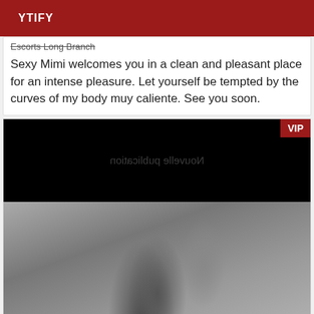YTIFY
Escorts Long Branch
Sexy Mimi welcomes you in a clean and pleasant place for an intense pleasure. Let yourself be tempted by the curves of my body muy caliente. See you soon.
[Figure (photo): Listing card with VIP badge showing mirrored text 'Nouvelle publication' on black background, and a grayscale photo of a person with dark hair]